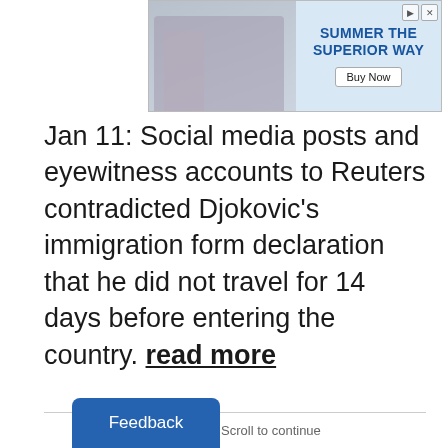[Figure (photo): Advertisement banner showing a person with beverages and text 'SUMMER THE SUPERIOR WAY' with a 'Buy Now' button]
Jan 11: Social media posts and eyewitness accounts to Reuters contradicted Djokovic's immigration form declaration that he did not travel for 14 days before entering the country. read more
Advertisement · Scroll to continue
Feedback